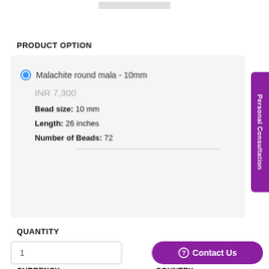[Figure (other): Top navigation bar with a rounded rectangle UI element]
PRODUCT OPTION
Malachite round mala - 10mm
INR 7,300
Bead size: 10 mm
Length: 26 inches
Number of Beads: 72
QUANTITY
1
Contact Us
CURRENCY
COUNTRY